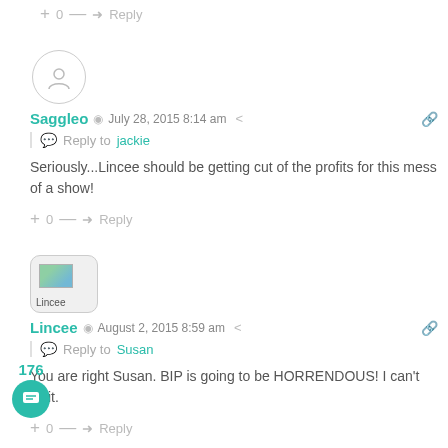+ 0 — Reply
Saggleo   July 28, 2015 8:14 am
Reply to jackie
Seriously...Lincee should be getting cut of the profits for this mess of a show!
+ 0 — Reply
[Figure (photo): Lincee avatar thumbnail]
Lincee   August 2, 2015 8:59 am
Reply to Susan
You are right Susan. BIP is going to be HORRENDOUS! I can't wait.
+ 0 — Reply
176